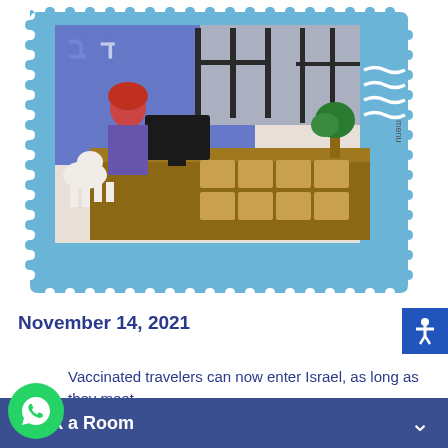[Figure (photo): A postage stamp-shaped image showing a girl with red hair sitting at a reception desk in a colorful office with blue and purple wall art, with boxes on shelving behind the desk. The stamp has a light blue perforated border with wavy cancellation lines on the right side.]
November 14, 2021
Vaccinated travelers can now enter Israel, as long as they meet the following conditions: two doses of the Pfizer, Moderna, AstraZeneca, Sinovac, or Sinopharm vaccines, and 14 full days have passed. By the time you leave Israel, it cannot be more than 180
Book a Room